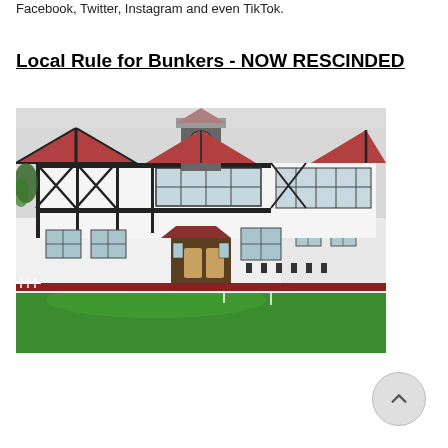Facebook, Twitter, Instagram and even TikTok.
Local Rule for Bunkers - NOW RESCINDED
[Figure (photo): Golf clubhouse building with Tudor-style black and white timber framing, red roof, clock tower, and green putting green in the foreground with a flag.]